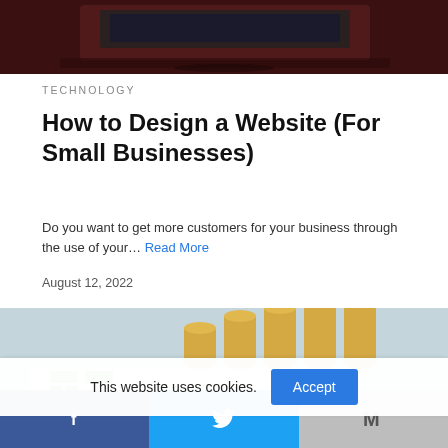[Figure (photo): Dark-toned laptop computer photo at top of article card]
TECHNOLOGY
How to Design a Website (For Small Businesses)
Do you want to get more customers for your business through the use of your… Read More
August 12, 2022
[Figure (photo): Stacked coins arranged in ascending order on a financial chart with dollar signs and percentage symbols, GeeksFlame watermark]
This website uses cookies.
[Figure (infographic): Social media sharing bar with Facebook, Twitter, and email icons]